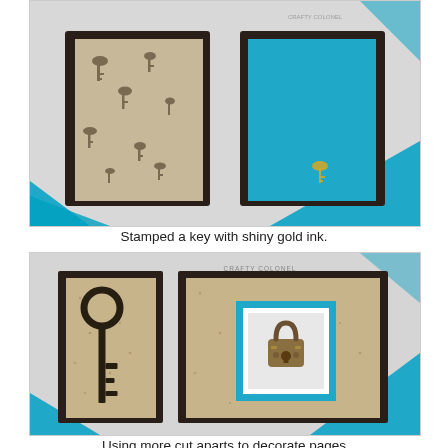[Figure (photo): Open handmade book/album with dark brown covers. Left side interior shows patterned paper with vintage keys design in gray/brown tones. Right side shows a solid teal/turquoise page with a small stamped gold key embellishment. A teal ribbon is visible in the background on white surface.]
Stamped a key with shiny gold ink.
[Figure (photo): Open handmade book/album with dark brown covers showing interior pages. Left side has a large decorative key silhouette (dark/black) on a speckled tan/kraft paper. Right side shows a framed stamped image of a vintage lock/padlock on a teal mat layered over the speckled paper. A teal ribbon is visible in the background. Crafty Colonel watermark logo visible at top.]
Using more cut aparts to decorate pages